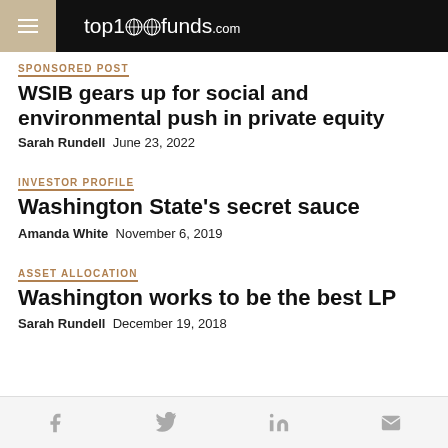top1000funds.com
WSIB gears up for social and environmental push in private equity
Sarah Rundell  June 23, 2022
INVESTOR PROFILE
Washington State's secret sauce
Amanda White  November 6, 2019
ASSET ALLOCATION
Washington works to be the best LP
Sarah Rundell  December 19, 2018
Social share icons: Facebook, Twitter, LinkedIn, Email